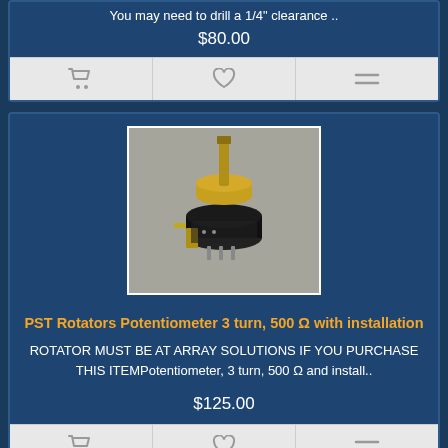You may need to drill a 1/4" clearance ..
$80.00
[Figure (photo): Photo of a PST Rotators Potentiometer 3 turn 500 Ohm component, black cylindrical body with gold/brass shaft housing and connector pins]
PST Rotators Potentiometer 3 turn, 500 Ω with installation
ROTATOR MUST BE AT ARRAY SOLUTIONS IF YOU PURCHASE THIS ITEMPotentiometer, 3 turn, 500 Ω and install..
$125.00